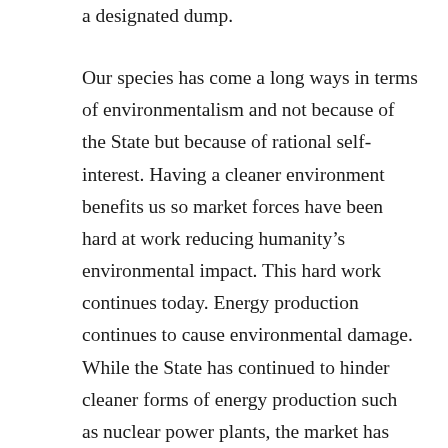a designated dump.
Our species has come a long ways in terms of environmentalism and not because of the State but because of rational self-interest. Having a cleaner environment benefits us so market forces have been hard at work reducing humanity's environmental impact. This hard work continues today. Energy production continues to cause environmental damage. While the State has continued to hinder cleaner forms of energy production such as nuclear power plants, the market has been hard at work making more power efficient devices. Devices that use less energy reduce the load on power production facilities, which means less new facilities have to be built to meet demands. Mining is another activity that causes notable environmental damage and the market is once